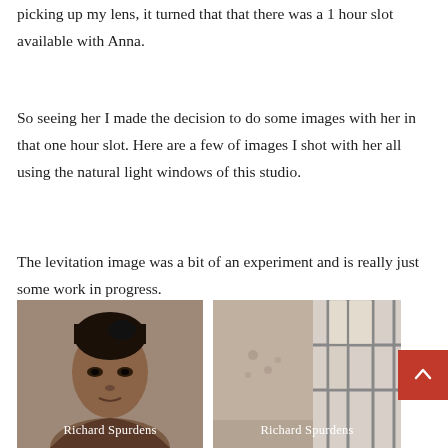picking up my lens, it turned that that there was a 1 hour slot available with Anna.
So seeing her I made the decision to do some images with her in that one hour slot. Here are a few of images I shot with her all using the natural light windows of this studio.
The levitation image was a bit of an experiment and is really just some work in progress.
[Figure (photo): Portrait photo of a Black woman with hair up, studio portrait. Caption: Richard Spurdens]
[Figure (photo): Interior room photo with window grid showing natural light, some wall marks. Caption: Richard Spurdens]